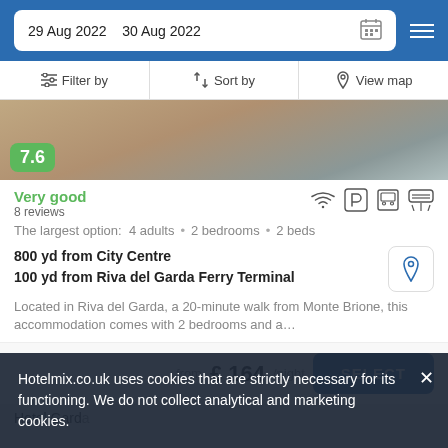29 Aug 2022  30 Aug 2022
Filter by  |  Sort by  |  View map
[Figure (photo): Hotel room interior photo showing a window with curtains and outdoor view]
7.6
Very good
8 reviews
The largest option:  4 adults  •  2 bedrooms  •  2 beds
800 yd from City Centre
100 yd from Riva del Garda Ferry Terminal
Located in Riva del Garda, a 20-minute walk from Monte Brione, this accommodation comes with 2 bedrooms and a…
from £ 164/night
SELECT
Hotelmix.co.uk uses cookies that are strictly necessary for its functioning. We do not collect analytical and marketing cookies.